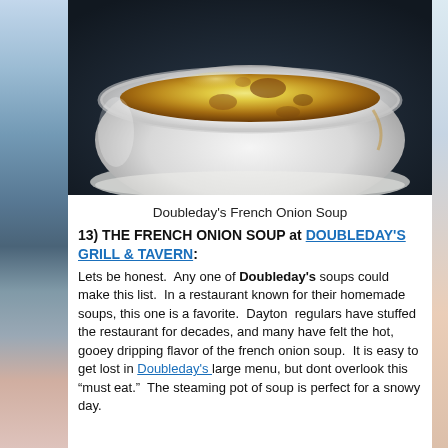[Figure (photo): Close-up photo of Doubleday's French Onion Soup in a white ceramic bowl with melted, browned cheese on top, served on a white doily or napkin, with a dark background.]
Doubleday's French Onion Soup
13) THE FRENCH ONION SOUP at DOUBLEDAY'S GRILL & TAVERN:
Lets be honest.  Any one of Doubleday's soups could make this list.  In a restaurant known for their homemade soups, this one is a favorite.  Dayton  regulars have stuffed the restaurant for decades, and many have felt the hot, gooey dripping flavor of the french onion soup.  It is easy to get lost in Doubleday's large menu, but dont overlook this “must eat.”  The steaming pot of soup is perfect for a snowy day.